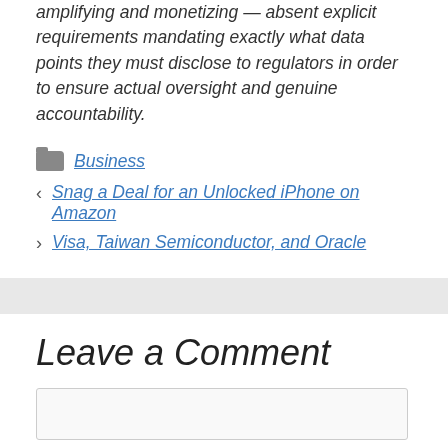amplifying and monetizing — absent explicit requirements mandating exactly what data points they must disclose to regulators in order to ensure actual oversight and genuine accountability.
Business
< Snag a Deal for an Unlocked iPhone on Amazon
> Visa, Taiwan Semiconductor, and Oracle
Leave a Comment